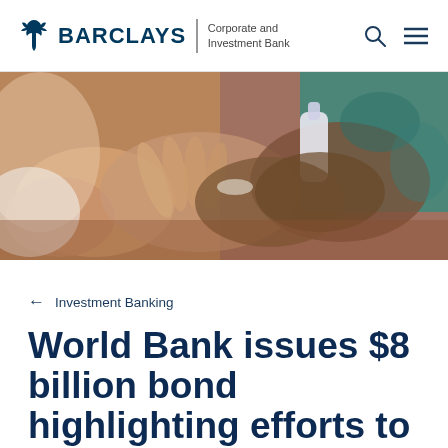BARCLAYS | Corporate and Investment Bank
[Figure (photo): Close-up photograph of hands, with an adult applying hand sanitizer to a child's hands]
← Investment Banking
World Bank issues $8 billion bond highlighting efforts to tackle